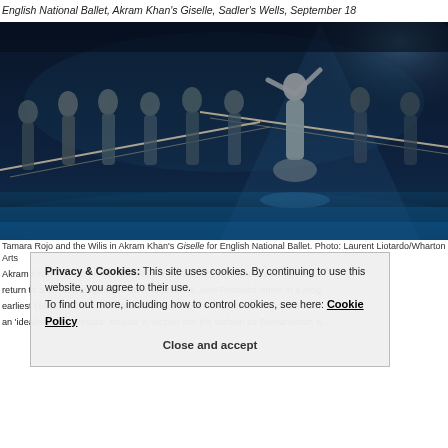English National Ballet, Akram Khan's Giselle, Sadler's Wells, September 18
[Figure (photo): Stage photo of Tamara Rojo and the Wilis in Akram Khan's Giselle for English National Ballet. Dancers in grey flowing costumes on a dark blue-lit stage holding long poles/sticks connected in a line, with one central dancer raising her arms.]
Tamara Rojo and the Wilis in Akram Khan's Giselle for English National Ballet. Photo: Laurent Liotardo/Wharton Arts
Akram Khan created his transposition of Giselle for English National Ballet in 2... return to a London stage since then. Giselle, as Jane Pritchard writes in a prog... earliest (1841) of the 'canon of ballets' and one of the cornerstones of the clas... an 'idealised, picturesque arcadia' it 'tapped into the fashion for Romanticism w...
Privacy & Cookies: This site uses cookies. By continuing to use this website, you agree to their use. To find out more, including how to control cookies, see here: Cookie Policy
Close and accept